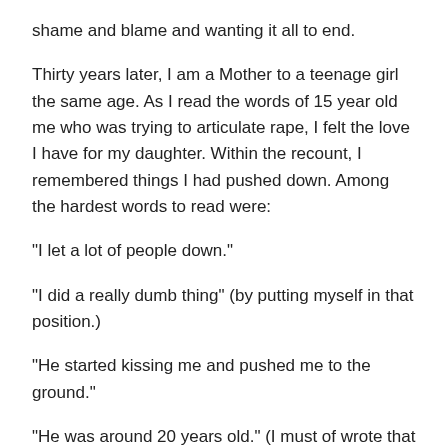shame and blame and wanting it all to end.
Thirty years later, I am a Mother to a teenage girl the same age. As I read the words of 15 year old me who was trying to articulate rape, I felt the love I have for my daughter. Within the recount, I remembered things I had pushed down. Among the hardest words to read were:
"I let a lot of people down."
"I did a really dumb thing" (by putting myself in that position.)
"He started kissing me and pushed me to the ground."
"He was around 20 years old." (I must of wrote that understanding he was an adult and I was a teen)
"How am I going to tell Mom and Dad?"